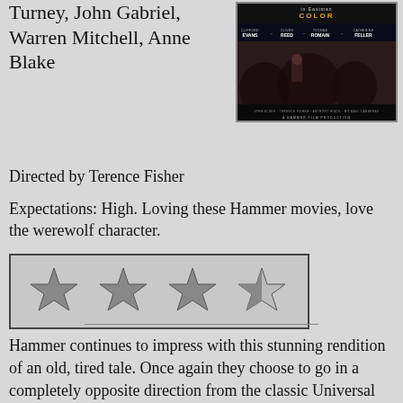Turney, John Gabriel, Warren Mitchell, Anne Blake
[Figure (photo): Movie poster showing 'Clifford Evans, Oliver Reed, Yvonne Romain, Catherine Feller' in Eastman COLOR, directed by Terence Fisher]
Directed by Terence Fisher
Expectations: High. Loving these Hammer movies, love the werewolf character.
[Figure (other): 3.5 out of 4 stars rating shown as star icons in a bordered box]
Hammer continues to impress with this stunning rendition of an old, tired tale. Once again they choose to go in a completely opposite direction from the classic Universal